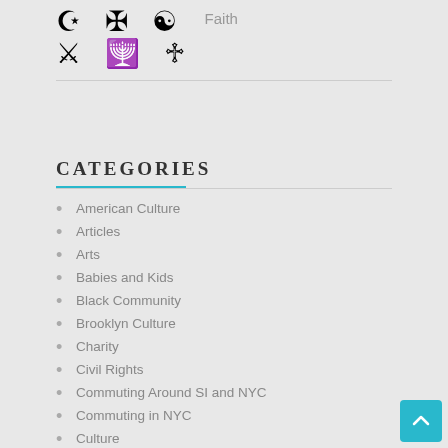[Figure (illustration): Religious symbols including crescent and star, cross, yin-yang, Sikh Khanda, candle or menorah, and trident, arranged in two rows]
Faith
CATEGORIES
American Culture
Articles
Arts
Babies and Kids
Black Community
Brooklyn Culture
Charity
Civil Rights
Commuting Around SI and NYC
Commuting in NYC
Culture
Daytripping On SI
Economy And Finances